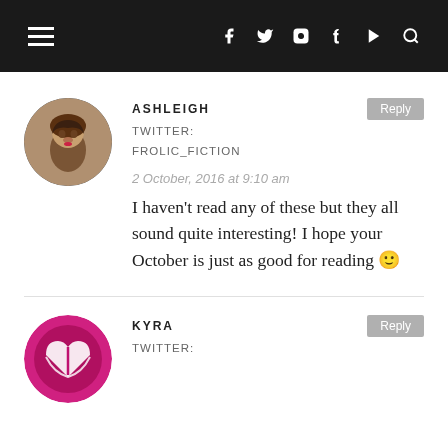Navigation bar with hamburger menu and social icons: Facebook, Twitter, Instagram, Tumblr, YouTube, Search
ASHLEIGH
TWITTER: FROLIC_FICTION
2 October, 2016 at 9:10 am
I haven't read any of these but they all sound quite interesting! I hope your October is just as good for reading 🙂
KYRA
TWITTER: